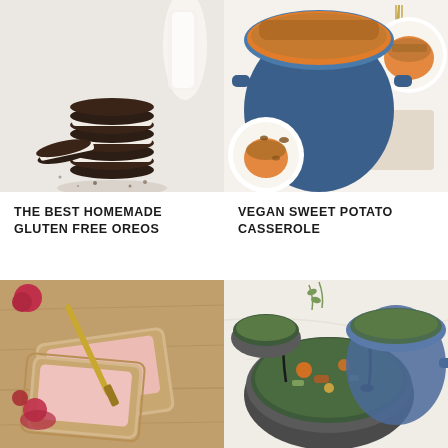[Figure (photo): Stack of chocolate sandwich cookies resembling Oreos with white cream filling, a glass of milk in background, on white surface]
[Figure (photo): Overhead view of a blue Dutch oven with sweet potato casserole topped with pecan crumble, with plates on white surface]
THE BEST HOMEMADE GLUTEN FREE OREOS
VEGAN SWEET POTATO CASSEROLE
[Figure (photo): Homemade pop tarts with pink icing and raspberry jam on wooden board with gold knife]
[Figure (photo): Bowl of vegetable soup with spoon, herbs on white surface, blue pot in background]